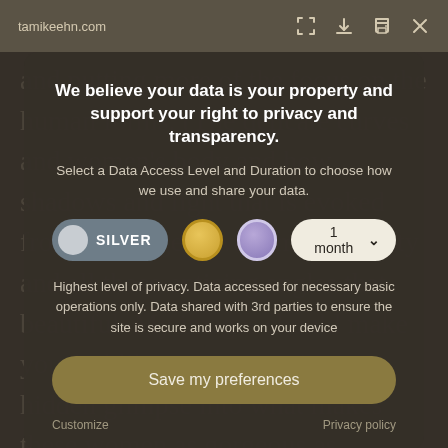tamikeehn.com
[Figure (screenshot): Browser toolbar with URL tamikeehn.com and icons for fullscreen, download, print, and close]
and putting more of the focus on the human forms. (The delicate curves and women's body and how shadows and light that is evoked from an image. I want my sexuality and all those enticing angles that beautiful. My images should make you feel like you are getting a hidden glimpse into what makes these women as gorgeous as
We believe your data is your property and support your right to privacy and transparency.
Select a Data Access Level and Duration to choose how we use and share your data.
[Figure (infographic): Privacy consent controls: Silver toggle button, gold circle, purple circle, and 1 month dropdown selector]
Highest level of privacy. Data accessed for necessary basic operations only. Data shared with 3rd parties to ensure the site is secure and works on your device
Save my preferences
Customize
Privacy policy